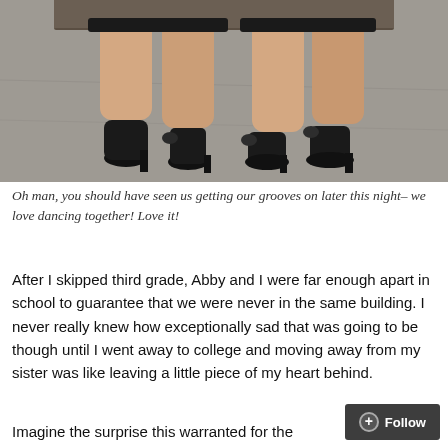[Figure (photo): Cropped photo showing two people's legs from knees down, both wearing short black skirts and black high heels, standing on a gray pavement surface.]
Oh man, you should have seen us getting our grooves on later this night– we love dancing together! Love it!
After I skipped third grade, Abby and I were far enough apart in school to guarantee that we were never in the same building. I never really knew how exceptionally sad that was going to be though until I went away to college and moving away from my sister was like leaving a little piece of my heart behind.
Imagine the surprise this warranted for the three-